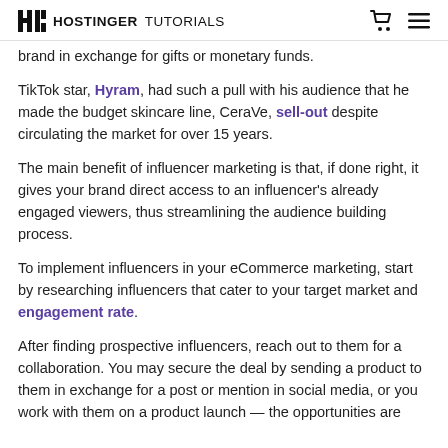HOSTINGER TUTORIALS
brand in exchange for gifts or monetary funds.
TikTok star, Hyram, had such a pull with his audience that he made the budget skincare line, CeraVe, sell-out despite circulating the market for over 15 years.
The main benefit of influencer marketing is that, if done right, it gives your brand direct access to an influencer's already engaged viewers, thus streamlining the audience building process.
To implement influencers in your eCommerce marketing, start by researching influencers that cater to your target market and engagement rate.
After finding prospective influencers, reach out to them for a collaboration. You may secure the deal by sending a product to them in exchange for a post or mention in social media, or you work with them on a product launch — the opportunities are